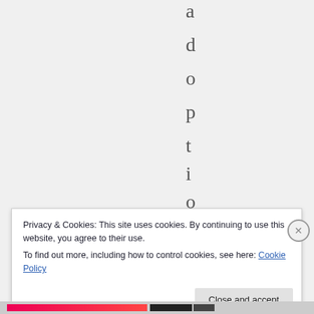adoption. Th
Privacy & Cookies: This site uses cookies. By continuing to use this website, you agree to their use.
To find out more, including how to control cookies, see here: Cookie Policy
Close and accept